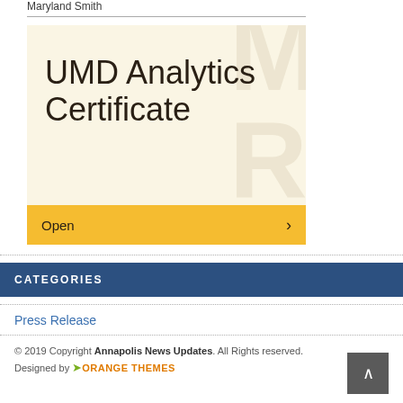Maryland Smith
[Figure (screenshot): UMD Analytics Certificate card with cream/beige background and large watermark letters, showing title 'UMD Analytics Certificate' in large dark text]
Open >
CATEGORIES
Press Release
© 2019 Copyright Annapolis News Updates. All Rights reserved. Designed by ORANGE THEMES